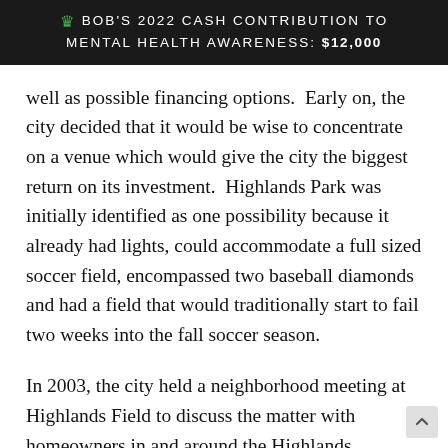BOB'S 2022 CASH CONTRIBUTION TO MENTAL HEALTH AWARENESS: $12,000
well as possible financing options.  Early on, the city decided that it would be wise to concentrate on a venue which would give the city the biggest return on its investment.  Highlands Park was initially identified as one possibility because it already had lights, could accommodate a full sized soccer field, encompassed two baseball diamonds and had a field that would traditionally start to fail two weeks into the fall soccer season.
In 2003, the city held a neighborhood meeting at Highlands Field to discuss the matter with homeowners in and around the Highlands neighborhood. This meeting would be the first of